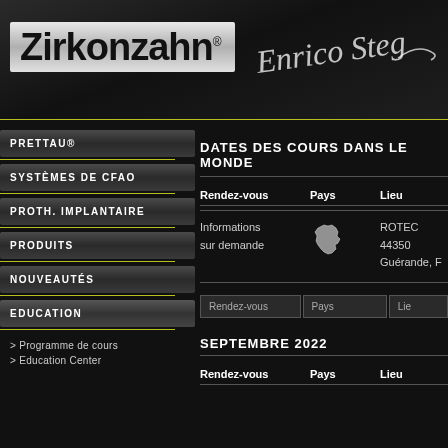[Figure (logo): Zirkonzahn logo with white/silver background and signature script to the right]
PRETTAU®
SYSTÈMES DE CFAO
PROTH. IMPLANTAIRE
PRODUITS
NOUVEAUTÉS
EDUCATION
> Programme de cours
> Education Center
DATES DES COURS DANS LE MONDE
| Rendez-vous | Pays | Lieu |
| --- | --- | --- |
| Informations sur demande | (France map icon) | ROTEC
44350 Guérande, F |
| Rendez-vous | Pays | Lieu |
| --- | --- | --- |
SEPTEMBRE 2022
| Rendez-vous | Pays | Lieu |
| --- | --- | --- |